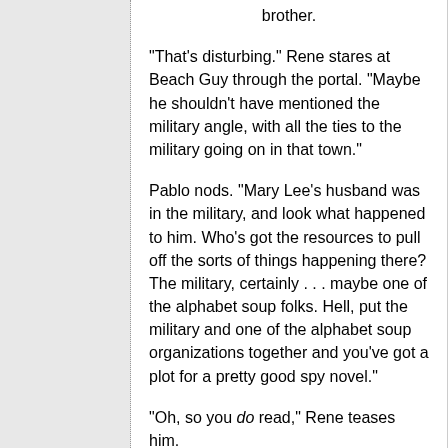brother.
"That's disturbing." Rene stares at Beach Guy through the portal. "Maybe he shouldn't have mentioned the military angle, with all the ties to the military going on in that town."
Pablo nods. "Mary Lee's husband was in the military, and look what happened to him. Who's got the resources to pull off the sorts of things happening there? The military, certainly . . . maybe one of the alphabet soup folks. Hell, put the military and one of the alphabet soup organizations together and you've got a plot for a pretty good spy novel."
"Oh, so you do read," Rene teases him.
Pablo shrugs and grins that boyish grin of his. "I like what I like. I have no use for the rest of it."